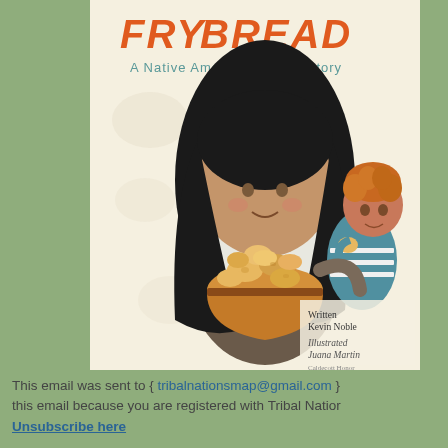[Figure (illustration): Book cover of 'Fry Bread: A Native American Family Story'. Shows a woman with long black hair holding a bowl of fry bread and a small child with curly orange hair. Title text 'FRY BREAD' in orange letters at top, subtitle 'A Native American Family Story' in teal letters. Bottom right shows 'Written Kevin Noble', 'Illustrated Juana Martin', 'Caldecott Honor'.]
This email was sent to { tribalnationsmap@gmail.com } this email because you are registered with Tribal Nations Map.
Unsubscribe here